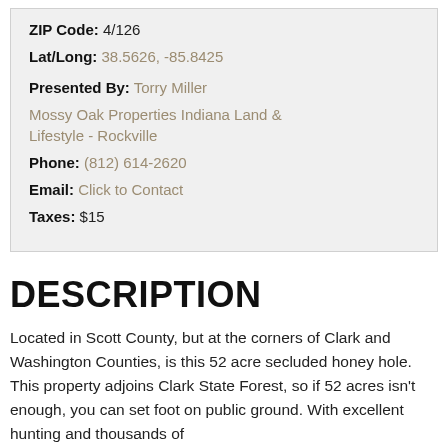ZIP Code: 4/126
Lat/Long: 38.5626, -85.8425
Presented By: Torry Miller
Mossy Oak Properties Indiana Land & Lifestyle - Rockville
Phone: (812) 614-2620
Email: Click to Contact
Taxes: $15
DESCRIPTION
Located in Scott County, but at the corners of Clark and Washington Counties, is this 52 acre secluded honey hole. This property adjoins Clark State Forest, so if 52 acres isn't enough, you can set foot on public ground. With excellent hunting and thousands of